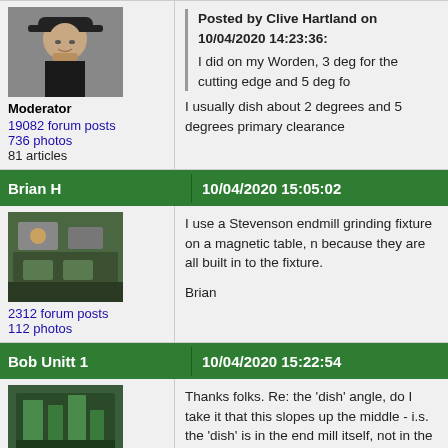Posted by Clive Hartland on 10/04/2020 14:23:36: I did on my Worden, 3 deg for the cutting edge and 5 deg fo...
I usually dish about 2 degrees and 5 degrees primary clearance...
Moderator
19082 forum posts
736 photos
81 articles
Brian H
10/04/2020 15:05:02
I use a Stevenson endmill grinding fixture on a magnetic table, n... because they are all built in to the fixture.

Brian
2312 forum posts
112 photos
Bob Unitt 1
10/04/2020 15:22:54
Thanks folks. Re: the 'dish' angle, do I take it that this slopes up... the middle - i.s. the 'dish' is in the end mill itself, not in the result...
227 forum posts
33 photos
Bob Unitt 1
10/04/2020 15:24:38
Posted by AdrianR on 10/04/2020 14:17:09: I don't know the official answer, but why not just use the sam...